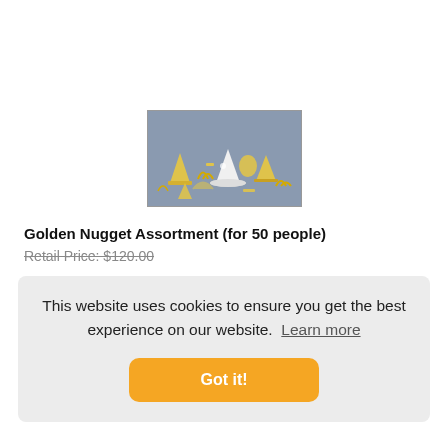[Figure (photo): Golden Nugget party assortment product photo showing gold and white party hats, horns, tiaras, and decorations arranged on a gray background]
Golden Nugget Assortment (for 50 people)
Retail Price: $120.00
This website uses cookies to ensure you get the best experience on our website.  Learn more
Got it!